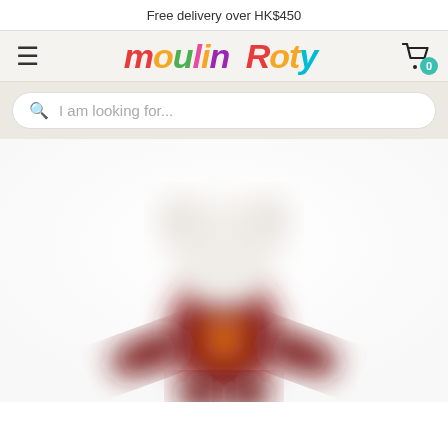Free delivery over HK$450
[Figure (logo): Moulin Roty colorful logo with hamburger menu and cart icon with badge showing 0]
[Figure (photo): Blurred plush toy figure with white head and dark red/burgundy body, spread arms]
I am looking for...